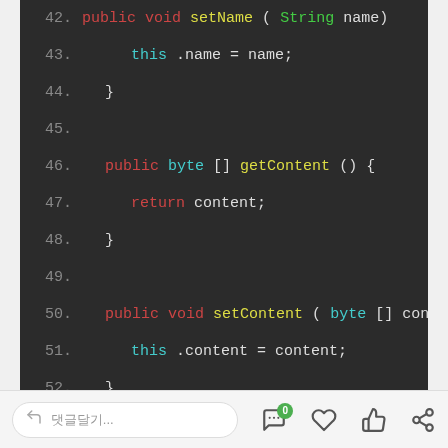[Figure (screenshot): Java source code editor screenshot showing lines 42-60 with syntax highlighting on dark background. Lines show setter/getter methods: setName, getContent, setContent, getExt, setExt.]
Bottom navigation bar with reply box, comment count badge (0), heart, thumbs-up, and share icons.